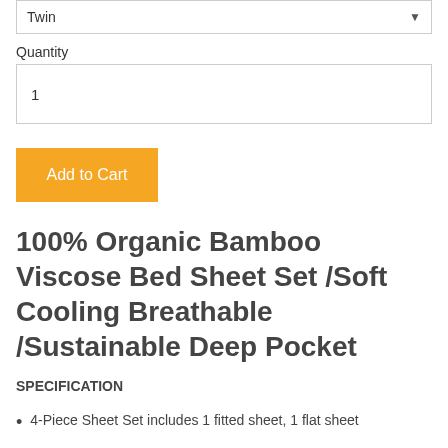Twin
Quantity
1
Add to Cart
100% Organic Bamboo Viscose Bed Sheet Set /Soft Cooling Breathable /Sustainable Deep Pocket
SPECIFICATION
4-Piece Sheet Set includes 1 fitted sheet, 1 flat sheet